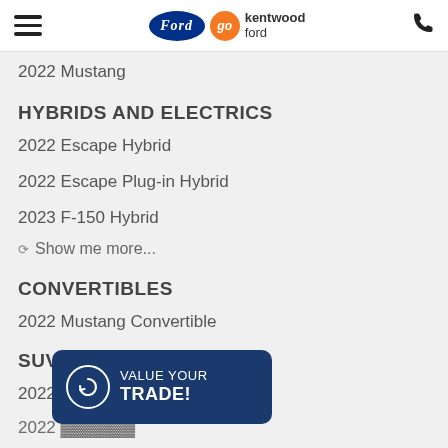Ford — Go Kentwood Ford
2022 Mustang
HYBRIDS AND ELECTRICS
2022 Escape Hybrid
2022 Escape Plug-in Hybrid
2023 F-150 Hybrid
Show me more...
CONVERTIBLES
2022 Mustang Convertible
SUV AND TRUCKS
2022 Bronco
2022 EcoSport
Show me more
[Figure (infographic): VALUE YOUR TRADE! banner button with circular refresh icon]